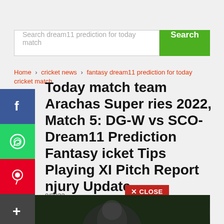[Figure (screenshot): Search bar with placeholder text 'Search dream11 prediction for today match' and a green 'Search' button]
Home > cricket news > fantasy dream11 prediction for today cricket match
[Figure (infographic): Social media sharing sidebar with Facebook, WhatsApp, Pinterest, and Share (+) buttons]
Today match team Arachas Super ries 2022, Match 5: DG-W vs SCO- Dream11 Prediction Fantasy icket Tips Playing XI Pitch Report njury Update
8/2022
[Figure (photo): Bottom portion of a cricket photo showing a player with dark background]